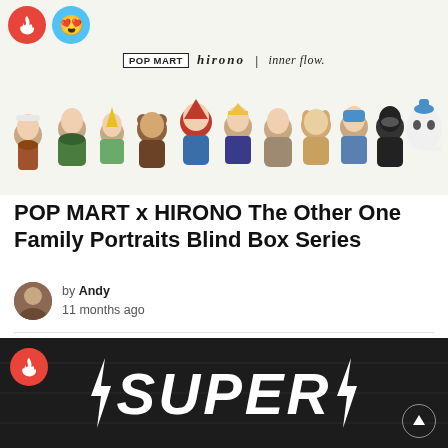[Figure (photo): Product photo of POP MART x HIRONO The Other One Family Portraits Blind Box Series figurines lined up on white background, with POP MART, hirono, and inner flow brand logos above them. Two circular badge icons (fire and emoji) in top-left corner.]
POP MART x HIRONO The Other One Family Portraits Blind Box Series
by Andy
11 months ago
+2
[Figure (photo): Dark background image with large bold white italic text 'SUPER' flanked by lightning bolt symbols. Red fire badge in top-left. Scroll-up arrow button in bottom-right.]